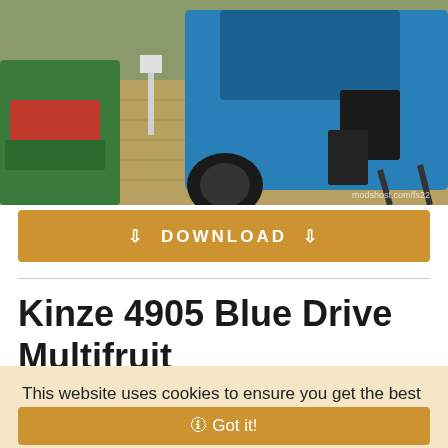[Figure (screenshot): Farming Simulator 22 screenshot showing agricultural machinery - a blue Kinze harvester and green/red farm equipment on a field, with modshost.com/fs22 watermark]
⇩ DOWNLOAD ⇩
Kinze 4905 Blue Drive Multifruit
This website uses cookies to ensure you get the best experience on our website. 🛈 Privacy Policy.
🛈 Got it!